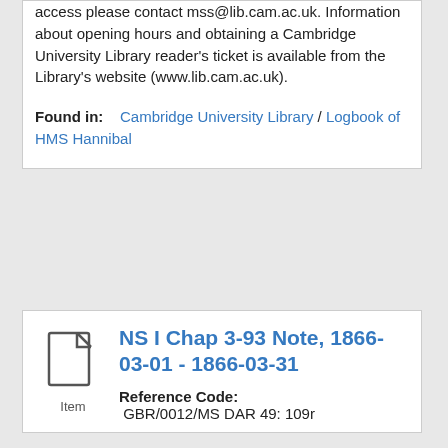access please contact mss@lib.cam.ac.uk. Information about opening hours and obtaining a Cambridge University Library reader's ticket is available from the Library's website (www.lib.cam.ac.uk).
Found in:   Cambridge University Library / Logbook of HMS Hannibal
[Figure (illustration): Document/file icon with label 'Item' beneath it]
NS I Chap 3-93 Note, 1866-03-01 - 1866-03-31
Reference Code:  GBR/0012/MS DAR 49: 109r